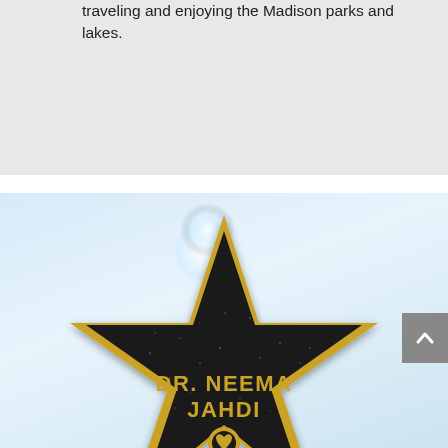traveling and enjoying the Madison parks and lakes.
[Figure (illustration): A Hollywood Walk of Fame style star plaque with gold border on dark/black glittery background. The star has a five-pointed shape. Inside the star, gold text reads 'DR. NEEMA JAHDI' with a small circular emblem at the bottom. The background is a light blue sky with a white glow/light effect near the top center.]